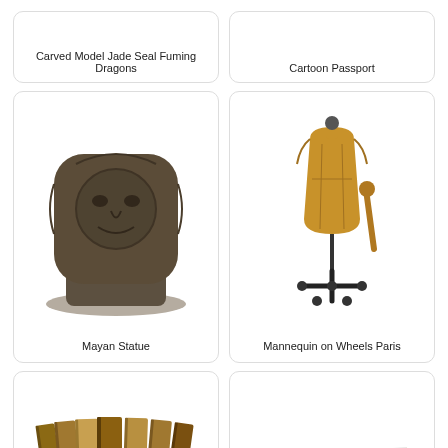[Figure (photo): Carved Mayan jade sculpture with dragons - partially visible at top]
Carved Model Jade Seal Fuming Dragons
[Figure (photo): Cartoon Passport - partially visible at top]
Cartoon Passport
[Figure (photo): 3D render of a Mayan stone statue with carved face pattern]
Mayan Statue
[Figure (photo): 3D render of a mannequin on wheels Paris style dress form on stand]
Mannequin on Wheels Paris
[Figure (photo): Stack of old bound books tied together with string]
[Figure (photo): White blank book or sketchpad lying flat]